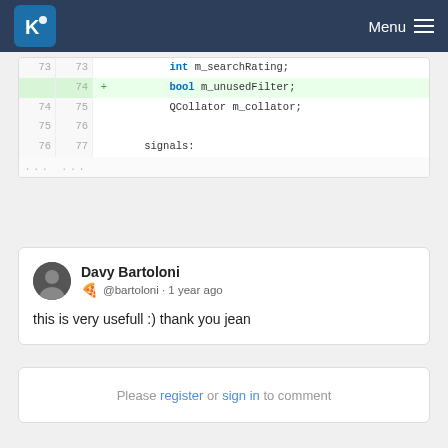KDE Menu
| old_ln | new_ln | marker | code |
| --- | --- | --- | --- |
| 73 | 73 |  |     int m_searchRating; |
|  | 74 | + |     bool m_unusedFilter; |
| 74 | 75 |  |     QCollator m_collator; |
| 75 | 76 |  |  |
| 76 | 77 |  |     signals: |
| ... | ... |  |  |
Davy Bartoloni @bartoloni · 1 year ago
this is very usefull :) thank you jean
Please register or sign in to comment